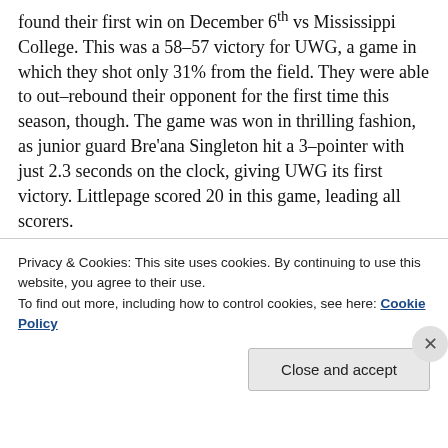found their first win on December 6th vs Mississippi College. This was a 58–57 victory for UWG, a game in which they shot only 31% from the field. They were able to out–rebound their opponent for the first time this season, though. The game was won in thrilling fashion, as junior guard Bre'ana Singleton hit a 3–pointer with just 2.3 seconds on the clock, giving UWG its first victory. Littlepage scored 20 in this game, leading all scorers.
That same week, UWG found
[Figure (photo): Photo of basketball players/fans in bleachers with a basketball visible in mid-air, blue gymnasium background]
Privacy & Cookies: This site uses cookies. By continuing to use this website, you agree to their use. To find out more, including how to control cookies, see here: Cookie Policy
Close and accept